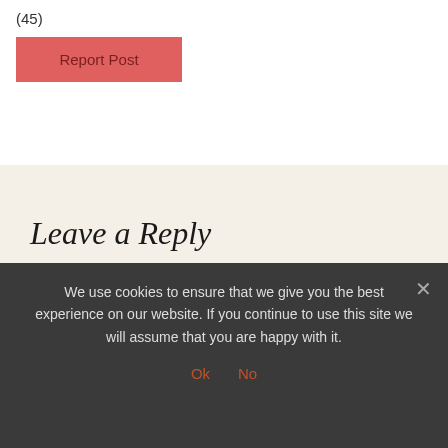(45)
Report Post
Leave a Reply
You must be logged in to post a comment.
This site uses Akismet to reduce spam. Learn how your comment
We use cookies to ensure that we give you the best experience on our website. If you continue to use this site we will assume that you are happy with it.
Ok   No